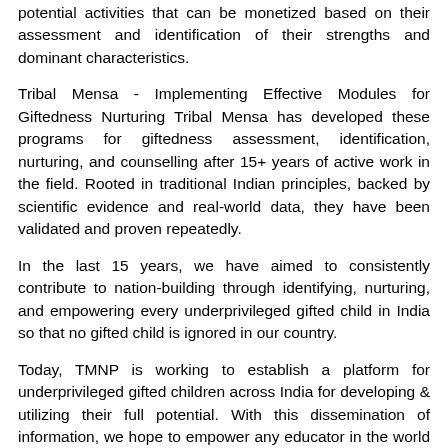potential activities that can be monetized based on their assessment and identification of their strengths and dominant characteristics.
Tribal Mensa - Implementing Effective Modules for Giftedness Nurturing Tribal Mensa has developed these programs for giftedness assessment, identification, nurturing, and counselling after 15+ years of active work in the field. Rooted in traditional Indian principles, backed by scientific evidence and real-world data, they have been validated and proven repeatedly.
In the last 15 years, we have aimed to consistently contribute to nation-building through identifying, nurturing, and empowering every underprivileged gifted child in India so that no gifted child is ignored in our country.
Today, TMNP is working to establish a platform for underprivileged gifted children across India for developing & utilizing their full potential. With this dissemination of information, we hope to empower any educator in the world to understand and successfully implement these programs to develop gifted children in their society.